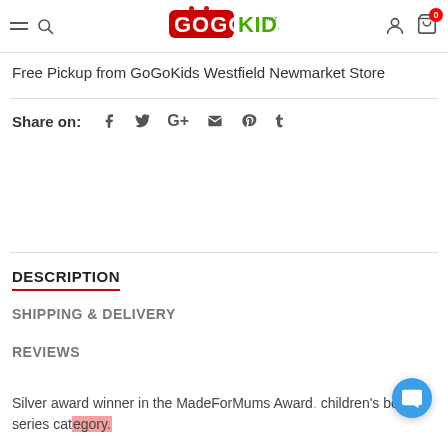GoGoKids - Free Pickup from GoGoKids Westfield Newmarket Store
Free Pickup from GoGoKids Westfield Newmarket Store
Share on: f t G+ mail pinterest t
DESCRIPTION
SHIPPING & DELIVERY
REVIEWS
Silver award winner in the MadeForMums Award children's books series category.